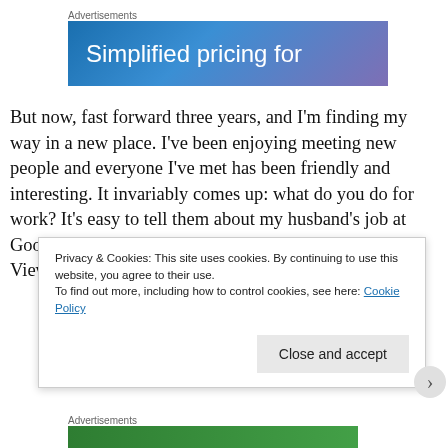[Figure (other): Advertisement banner with blue-purple gradient background and white text 'Simplified pricing for']
But now, fast forward three years, and I'm finding my way in a new place. I've been enjoying meeting new people and everyone I've met has been friendly and interesting. It invariably comes up: what do you do for work? It's easy to tell them about my husband's job at Google. This town is sometimes known as "Google View" (right up the 101
Privacy & Cookies: This site uses cookies. By continuing to use this website, you agree to their use.
To find out more, including how to control cookies, see here: Cookie Policy
Close and accept
[Figure (other): Advertisement banner at bottom with green background (partially visible)]